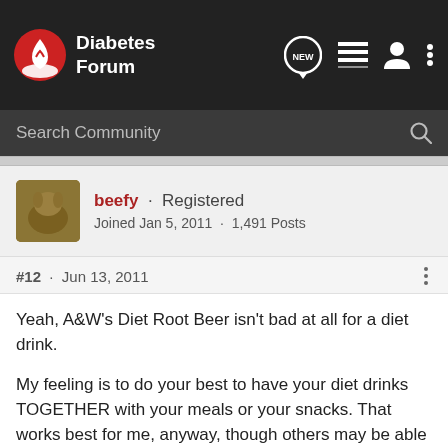Diabetes Forum
Search Community
beefy · Registered
Joined Jan 5, 2011 · 1,491 Posts
#12 · Jun 13, 2011
Yeah, A&W's Diet Root Beer isn't bad at all for a diet drink.

My feeling is to do your best to have your diet drinks TOGETHER with your meals or your snacks. That works best for me, anyway, though others may be able to get away with other times.
47 yr. old Male